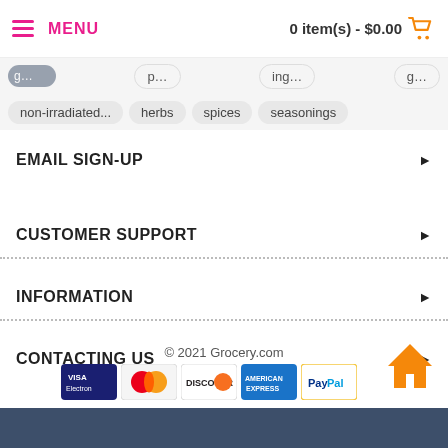MENU  |  0 item(s) - $0.00
non-irradiated...  herbs  spices  seasonings
EMAIL SIGN-UP
CUSTOMER SUPPORT
INFORMATION
CONTACTING US
© 2021 Grocery.com
[Figure (other): Payment method icons: Visa Electron, Mastercard, Discover, American Express, PayPal]
[Figure (other): Orange home icon button, bottom right]